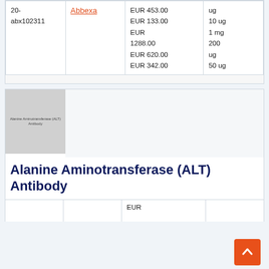| ID | Supplier | Prices | Sizes |
| --- | --- | --- | --- |
| 20-abx102311 | Abbexa | EUR 453.00
EUR 133.00
EUR 1288.00
EUR 620.00
EUR 342.00 | ug
10 ug
1 mg
200 ug
50 ug |
[Figure (photo): Product image placeholder for Alanine Aminotransferase (ALT) Antibody, grey rectangle with label text]
Alanine Aminotransferase (ALT) Antibody
|  |  | EUR |  |